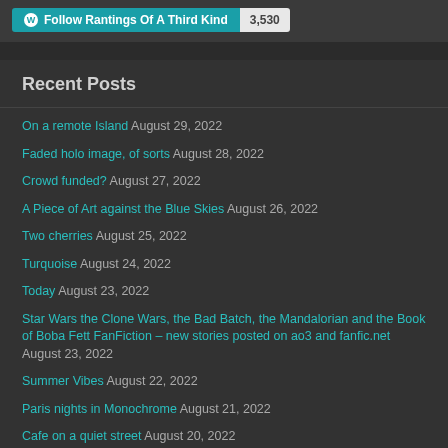[Figure (other): WordPress Follow button showing 'Follow Rantings Of A Third Kind' with follower count 3,530]
Recent Posts
On a remote Island August 29, 2022
Faded holo image, of sorts August 28, 2022
Crowd funded? August 27, 2022
A Piece of Art against the Blue Skies August 26, 2022
Two cherries August 25, 2022
Turquoise August 24, 2022
Today August 23, 2022
Star Wars the Clone Wars, the Bad Batch, the Mandalorian and the Book of Boba Fett FanFiction – new stories posted on ao3 and fanfic.net August 23, 2022
Summer Vibes August 22, 2022
Paris nights in Monochrome August 21, 2022
Cafe on a quiet street August 20, 2022